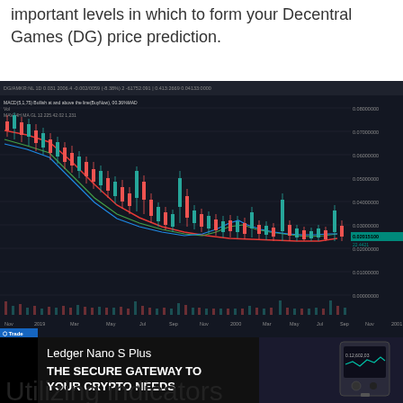important levels in which to form your Decentral Games (DG) price prediction.
[Figure (continuous-plot): Candlestick chart of DG/BTC or DG trading pair on TradingView showing a downtrend from late 2021 through mid-2022, with multiple moving average lines (red, green, blue) overlaid on OHLC candlesticks. The chart shows a sharp decline followed by consolidation near the bottom. Price scale on right, time axis on bottom showing dates from Nov through late 2022/2023.]
[Figure (screenshot): Ledger Nano S Plus advertisement banner. Shows 'Ledger Nano S Plus' title text, 'THE SECURE GATEWAY TO YOUR CRYPTO NEEDS' slogan in bold white text on dark background, with image of Ledger device on the right side.]
Utilizing indicators